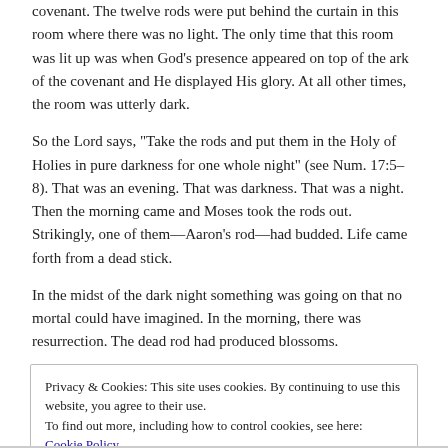covenant. The twelve rods were put behind the curtain in this room where there was no light. The only time that this room was lit up was when God's presence appeared on top of the ark of the covenant and He displayed His glory. At all other times, the room was utterly dark.
So the Lord says, "Take the rods and put them in the Holy of Holies in pure darkness for one whole night" (see Num. 17:5–8). That was an evening. That was darkness. That was a night. Then the morning came and Moses took the rods out. Strikingly, one of them—Aaron's rod—had budded. Life came forth from a dead stick.
In the midst of the dark night something was going on that no mortal could have imagined. In the morning, there was resurrection. The dead rod had produced blossoms.
Privacy & Cookies: This site uses cookies. By continuing to use this website, you agree to their use.
To find out more, including how to control cookies, see here: Cookie Policy
Close and accept